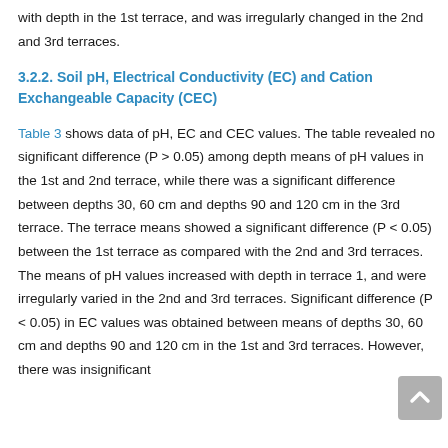with depth in the 1st terrace, and was irregularly changed in the 2nd and 3rd terraces.
3.2.2. Soil pH, Electrical Conductivity (EC) and Cation Exchangeable Capacity (CEC)
Table 3 shows data of pH, EC and CEC values. The table revealed no significant difference (P > 0.05) among depth means of pH values in the 1st and 2nd terrace, while there was a significant difference between depths 30, 60 cm and depths 90 and 120 cm in the 3rd terrace. The terrace means showed a significant difference (P < 0.05) between the 1st terrace as compared with the 2nd and 3rd terraces. The means of pH values increased with depth in terrace 1, and were irregularly varied in the 2nd and 3rd terraces. Significant difference (P < 0.05) in EC values was obtained between means of depths 30, 60 cm and depths 90 and 120 cm in the 1st and 3rd terraces. However, there was insignificant